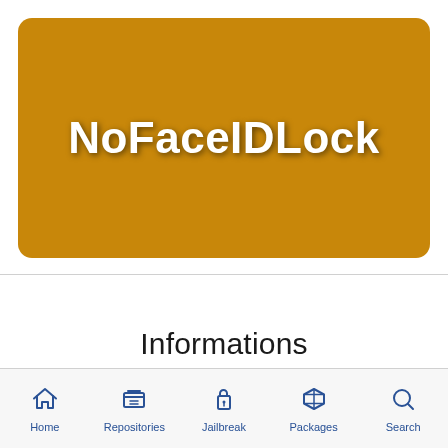[Figure (screenshot): Golden/amber colored banner with rounded corners displaying the app name 'NoFaceIDLock' in bold white text with drop shadow]
NoFaceIDLock
Informations
Home | Repositories | Jailbreak | Packages | Search